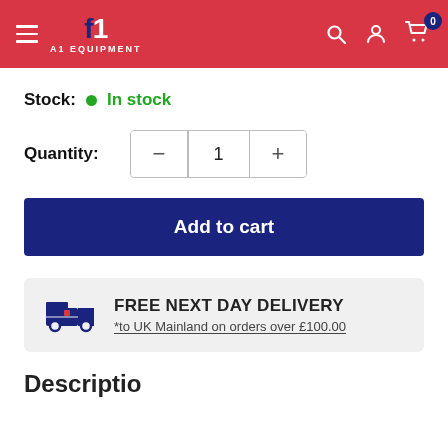A1 Equipment
Stock: In stock
Quantity: 1
Add to cart
FREE NEXT DAY DELIVERY *to UK Mainland on orders over £100.00
Description